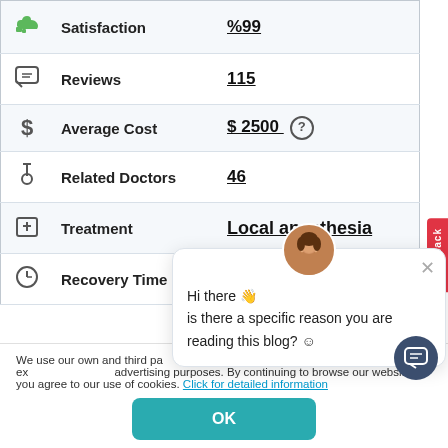| Icon | Label | Value |
| --- | --- | --- |
| 👍 | Satisfaction | %99 |
| 💬 | Reviews | 115 |
| $ | Average Cost | $ 2500 (?) |
| 🩺 | Related Doctors | 46 |
| 🏥 | Treatment | Local anesthesia |
| 🕐 | Recovery Time |  |
We use our own and third party cookies... you agree to our use of cookies. Click for detailed information
[Figure (screenshot): Chat popup with avatar photo, greeting message: Hi there, is there a specific reason you are reading this blog?]
[Figure (other): OK button (teal/green) for cookie consent]